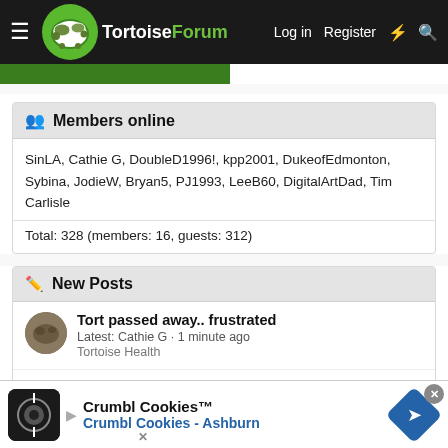TortoiseForum — Log in | Register
Members online
SinLA, Cathie G, DoubleD1996!, kpp2001, DukeofEdmonton, Sybina, JodieW, Bryan5, PJ1993, LeeB60, DigitalArtDad, Tim Carlisle
Total: 328 (members: 16, guests: 312)
New Posts
Tort passed away.. frustrated
Latest: Cathie G · 1 minute ago
Tortoise Health
I LOST MY TORTOISE,WILMINGTON MA
Latest: Cathie G · 2 minutes ago